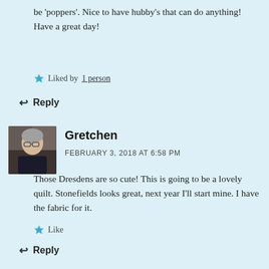be 'poppers'. Nice to have hubby's that can do anything! Have a great day!
Liked by 1 person
Reply
[Figure (photo): Avatar photo of commenter Gretchen, an older woman with gray hair and glasses, wearing a dark top.]
Gretchen
FEBRUARY 3, 2018 AT 6:58 PM
Those Dresdens are so cute! This is going to be a lovely quilt. Stonefields looks great, next year I'll start mine. I have the fabric for it.
Like
Reply